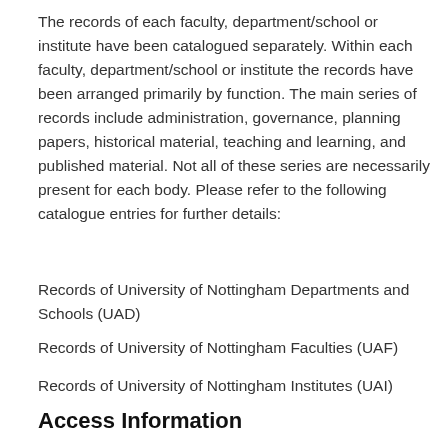The records of each faculty, department/school or institute have been catalogued separately. Within each faculty, department/school or institute the records have been arranged primarily by function. The main series of records include administration, governance, planning papers, historical material, teaching and learning, and published material. Not all of these series are necessarily present for each body. Please refer to the following catalogue entries for further details:
Records of University of Nottingham Departments and Schools (UAD)
Records of University of Nottingham Faculties (UAF)
Records of University of Nottingham Institutes (UAI)
Access Information